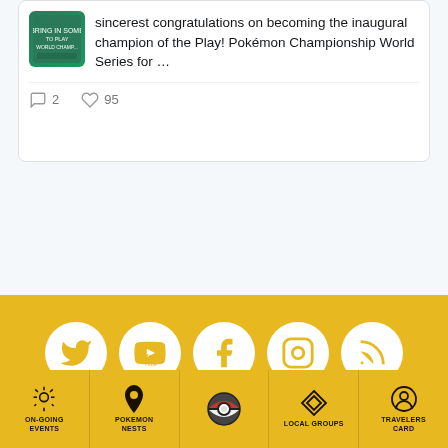[Figure (screenshot): Tweet card showing text: sincerest congratulations on becoming the inaugural champion of the Play! Pokémon Championship World Series for … with a green app icon thumbnail, 2 comments and 95 likes]
[Figure (screenshot): View more on Twitter blue button and Learn more about privacy on Twitter link on light gray background]
[Figure (infographic): Yellow social media bar with five white circles containing Twitter, YouTube, Facebook, Instagram, and RSS feed icons]
©2022 The Silph Road | All Rights Reserved | @TheSilphRoad | /r/TheSilchRoad
[Figure (infographic): Yellow bottom navigation bar with five items: ON-GOING EVENTS (antenna icon), POKEMON NESTS (location pin icon), center Pokeball icon, LOCAL GROUPS (diamond grid icon), TRAVELERS CARD (person circle icon)]